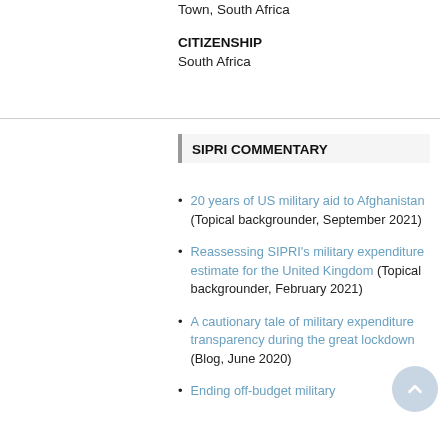Town, South Africa
CITIZENSHIP
South Africa
SIPRI COMMENTARY
20 years of US military aid to Afghanistan (Topical backgrounder, September 2021)
Reassessing SIPRI's military expenditure estimate for the United Kingdom (Topical backgrounder, February 2021)
A cautionary tale of military expenditure transparency during the great lockdown (Blog, June 2020)
Ending off-budget military